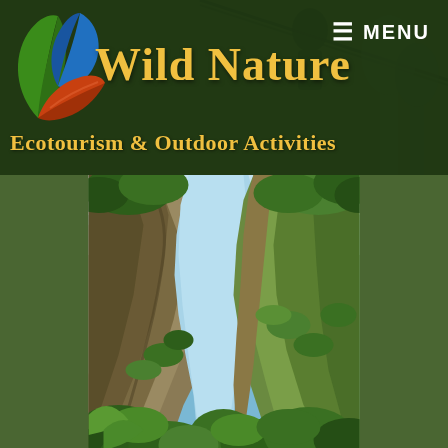[Figure (logo): Wild Nature Ecotourism & Outdoor Activities logo with green and blue leaves and an orange leaf, golden text on dark green background. Menu button in top right.]
[Figure (photo): Photo of a rocky gorge/canyon with tall limestone cliffs on both sides and lush green vegetation at the bottom and edges, blue sky visible at the top.]